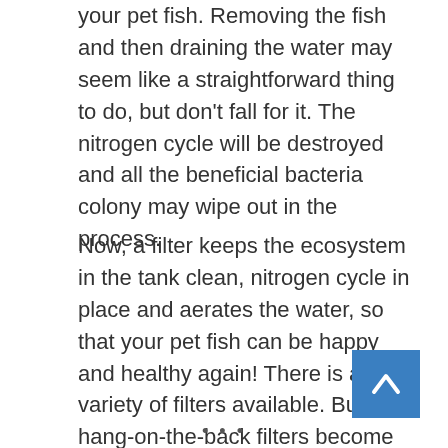your pet fish. Removing the fish and then draining the water may seem like a straightforward thing to do, but don't fall for it. The nitrogen cycle will be destroyed and all the beneficial bacteria colony may wipe out in the process.
Now, a filter keeps the ecosystem in the tank clean, nitrogen cycle in place and aerates the water, so that your pet fish can be happy and healthy again! There is a variety of filters available. But, hang-on-the-back filters become the most popular filtration system over the years.
[Figure (other): Blue back-to-top button with upward-pointing chevron arrow]
...